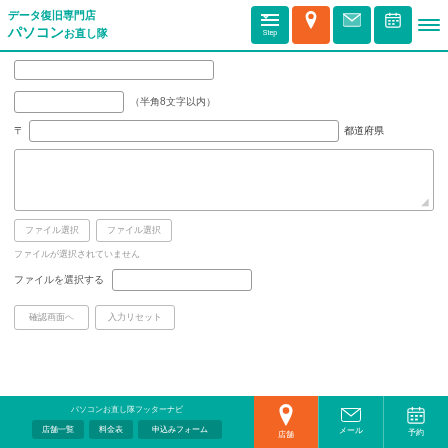データ復旧専門店 パソコンお直し隊
[Figure (screenshot): Navigation icons: Step checklist, location pin (orange), envelope, calendar, hamburger menu]
（半角8文字以内）
〒　　　　都道府県
（テキストエリア）
ファイル選択　　ファイル選択
ファイルが選択されていません
ファイルを選択する　入力欄
確認画面へ　　入力リセット
パソコンお直し隊フッターナビ　店舗一覧　料金表　申込みフォーム　店舗　メール　予約